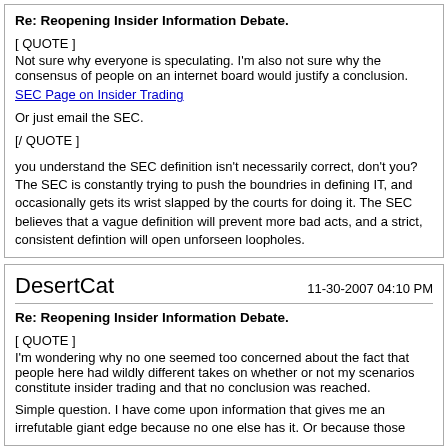Re: Reopening Insider Information Debate.
[ QUOTE ]
Not sure why everyone is speculating. I'm also not sure why the consensus of people on an internet board would justify a conclusion.
SEC Page on Insider Trading
Or just email the SEC.
[/ QUOTE ]
you understand the SEC definition isn't necessarily correct, don't you? The SEC is constantly trying to push the boundries in defining IT, and occasionally gets its wrist slapped by the courts for doing it. The SEC believes that a vague definition will prevent more bad acts, and a strict, consistent defintion will open unforseen loopholes.
DesertCat
11-30-2007 04:10 PM
Re: Reopening Insider Information Debate.
[ QUOTE ]
I'm wondering why no one seemed too concerned about the fact that people here had wildly different takes on whether or not my scenarios constitute insider trading and that no conclusion was reached.
Simple question. I have come upon information that gives me an irrefutable giant edge because no one else has it. Or because those